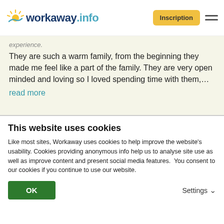[Figure (logo): Workaway.info logo with sun graphic and navigation buttons including Inscription and hamburger menu]
They are such a warm family, from the beginning they made me feel like a part of the family. They are very open minded and loving so I loved spending time with them,… read more
[Figure (photo): Circular profile photo of a smiling woman with light hair]
[Figure (infographic): 5 gold stars rating]
(Excellent)
This website uses cookies
Like most sites, Workaway uses cookies to help improve the website's usability. Cookies providing anonymous info help us to analyse site use as well as improve content and present social media features.  You consent to our cookies if you continue to use our website.
OK
Settings